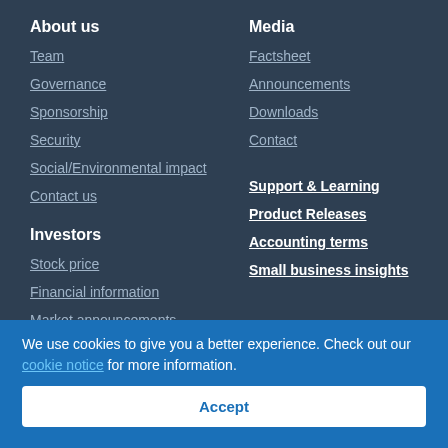About us
Team
Governance
Sponsorship
Security
Social/Environmental impact
Contact us
Investors
Stock price
Financial information
Market announcements
Leadership/Governance
Media
Factsheet
Announcements
Downloads
Contact
Support & Learning
Product Releases
Accounting terms
Small business insights
We use cookies to give you a better experience. Check out our cookie notice for more information.